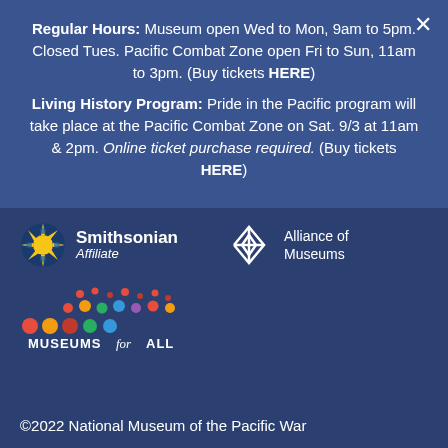Regular Hours: Museum open Wed to Mon, 9am to 5pm. Closed Tues. Pacific Combat Zone open Fri to Sun, 11am to 3pm. (Buy tickets HERE)
Living History Program: Pride in the Pacific program will take place at the Pacific Combat Zone on Sat. 9/3 at 11am & 2pm. Online ticket purchase required. (Buy tickets HERE)
[Figure (logo): Smithsonian Affiliate logo with sunburst icon]
[Figure (logo): Alliance of Museums logo with diamond pattern icon]
[Figure (logo): Museums for All logo with colorful dots]
©2022 National Museum of the Pacific War